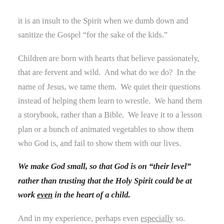it is an insult to the Spirit when we dumb down and sanitize the Gospel “for the sake of the kids.”
Children are born with hearts that believe passionately, that are fervent and wild. And what do we do? In the name of Jesus, we tame them. We quiet their questions instead of helping them learn to wrestle. We hand them a storybook, rather than a Bible. We leave it to a lesson plan or a bunch of animated vegetables to show them who God is, and fail to show them with our lives.
We make God small, so that God is on “their level” rather than trusting that the Holy Spirit could be at work even in the heart of a child.
And in my experience, perhaps even especially so.